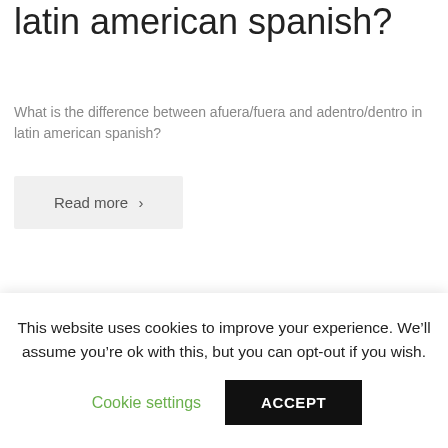latin american spanish?
What is the difference between afuera/fuera and adentro/dentro in latin american spanish?
Read more ›
which “Spanish countries” don’t speak Spanish? i know that Brazil is one what are the others?
need to know what ‘Spanish countries’ that may sound like they do
This website uses cookies to improve your experience. We’ll assume you’re ok with this, but you can opt-out if you wish.
Cookie settings
ACCEPT